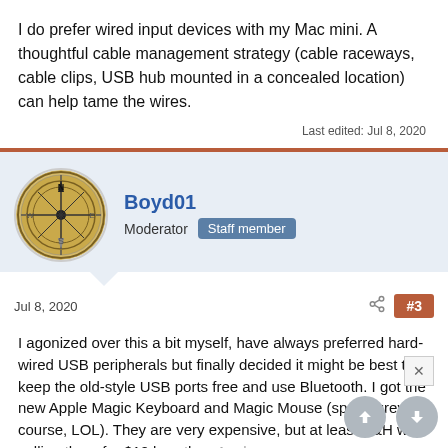I do prefer wired input devices with my Mac mini. A thoughtful cable management strategy (cable raceways, cable clips, USB hub mounted in a concealed location) can help tame the wires.
Last edited: Jul 8, 2020
[Figure (illustration): Compass rose avatar for user Boyd01]
Boyd01
Moderator   Staff member
Jul 8, 2020
#3
I agonized over this a bit myself, have always preferred hard-wired USB peripherals but finally decided it might be best to keep the old-style USB ports free and use Bluetooth. I got the new Apple Magic Keyboard and Magic Mouse (space grey, of course, LOL). They are very expensive, but at least B&H was selling them for $10 less than Apple.
I like the keyboard a lot, at first I thought it was basically the same as